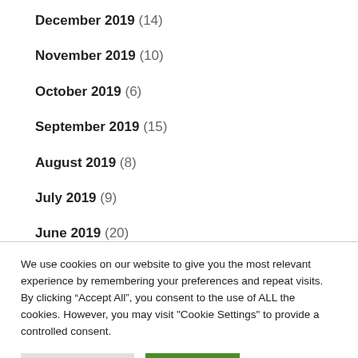December 2019 (14)
November 2019 (10)
October 2019 (6)
September 2019 (15)
August 2019 (8)
July 2019 (9)
June 2019 (20)
May 2019 (17)
We use cookies on our website to give you the most relevant experience by remembering your preferences and repeat visits. By clicking “Accept All”, you consent to the use of ALL the cookies. However, you may visit "Cookie Settings" to provide a controlled consent.
Cookie Settings  Accept All